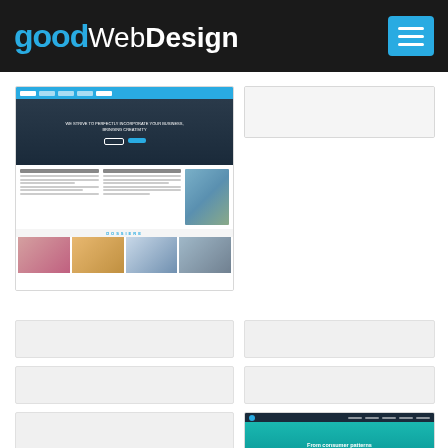goodWebDesign
[Figure (screenshot): Screenshot of a website with dark hero section, content columns with text and photo, dossiere section header, and gallery of 4 images]
[Figure (screenshot): Partial screenshot of a search/input bar]
[Figure (screenshot): Placeholder card gray]
[Figure (screenshot): Placeholder card gray]
[Figure (screenshot): Placeholder card gray]
[Figure (screenshot): Placeholder card gray]
[Figure (screenshot): Placeholder card gray]
[Figure (screenshot): Screenshot of a teal/cyan website with headline 'From consumer patterns to better retail decisions in a single day' and a red CTA button]